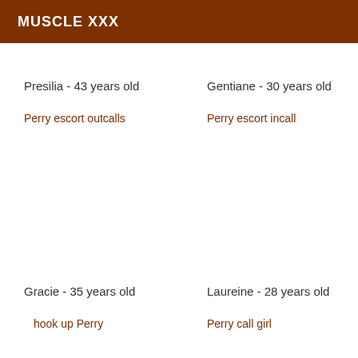MUSCLE XXX
Presilia - 43 years old
Perry escort outcalls
Gentiane - 30 years old
Perry escort incall
Gracie - 35 years old
hook up Perry
Laureine - 28 years old
Perry call girl